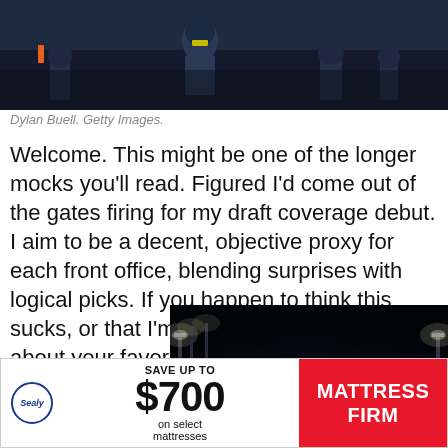[Figure (photo): Sports photo showing football players on a field, dark stadium background with navy blue uniforms]
Dylan Buell. Getty Images.
Welcome. This might be one of the longer mocks you'll read. Figured I'd come out of the gates firing for my draft coverage debut. I aim to be a decent, objective proxy for each front office, blending surprises with logical picks. If you happen to think this sucks, or that I'm categorically ignorant about your favorite team, well…
[Figure (photo): Sports photo of a player under stadium lights at night, dark blue background with bright stadium lights visible]
[Figure (photo): Mattress Firm advertisement: Save up to $700 on select mattresses, with Sealy logo]